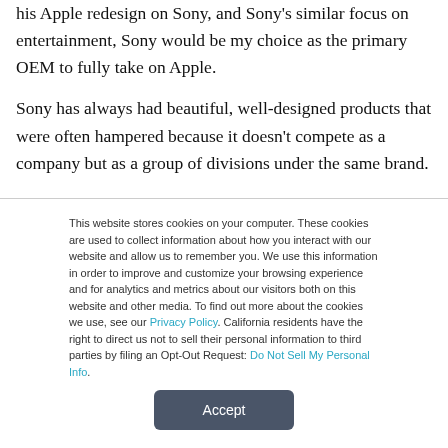his Apple redesign on Sony, and Sony's similar focus on entertainment, Sony would be my choice as the primary OEM to fully take on Apple.
Sony has always had beautiful, well-designed products that were often hampered because it doesn't compete as a company but as a group of divisions under the same brand.
This website stores cookies on your computer. These cookies are used to collect information about how you interact with our website and allow us to remember you. We use this information in order to improve and customize your browsing experience and for analytics and metrics about our visitors both on this website and other media. To find out more about the cookies we use, see our Privacy Policy. California residents have the right to direct us not to sell their personal information to third parties by filing an Opt-Out Request: Do Not Sell My Personal Info.
Accept